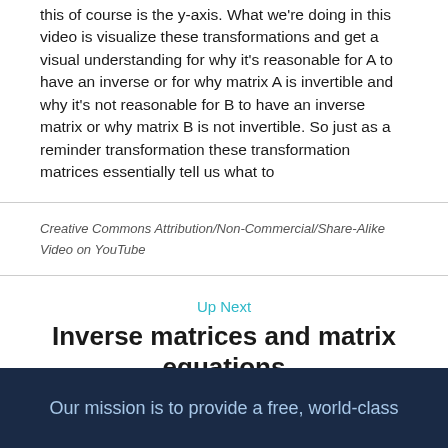this of course is the y-axis. What we're doing in this video is visualize these transformations and get a visual understanding for why it's reasonable for A to have an inverse or for why matrix A is invertible and why it's not reasonable for B to have an inverse matrix or why matrix B is not invertible. So just as a reminder transformation these transformation matrices essentially tell us what to
Creative Commons Attribution/Non-Commercial/Share-Alike
Video on YouTube
Up Next
Inverse matrices and matrix equations
Our mission is to provide a free, world-class